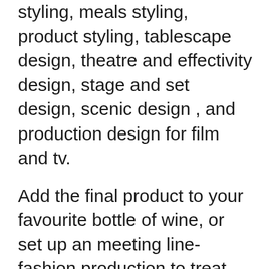styling, meals styling, product styling, tablescape design, theatre and effectivity design, stage and set design, scenic design , and production design for film and tv.
Add the final product to your favourite bottle of wine, or set up an meeting line-fashion production to treat your whole visitors to personalised labels. Particular person chairs are usually a go-to seating alternative for out of doors weddings, however why not change it up and use ceremony benches.
Echoing the glistening glass chandeliers that make Danesfield Home so stunning